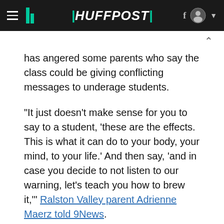HUFFPOST
has angered some parents who say the class could be giving conflicting messages to underage students.
"It just doesn't make sense for you to say to a student, 'these are the effects. This is what it can do to your body, your mind, to your life.' And then say, 'and in case you decide to not listen to our warning, let's teach you how to brew it,'" Ralston Valley parent Adrienne Maerz told 9News.
The Jefferson County School District later issued